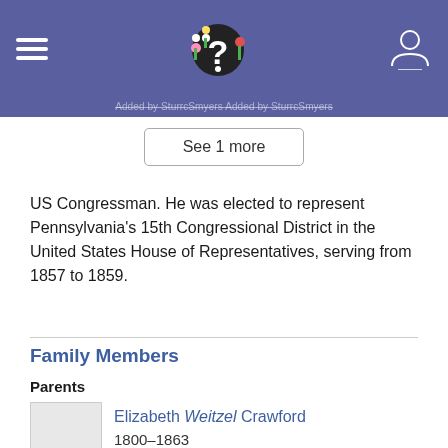Added by SturrCSmyers Added by SturrCSmyers
See 1 more
US Congressman. He was elected to represent Pennsylvania's 15th Congressional District in the United States House of Representatives, serving from 1857 to 1859.
Family Members
Parents
Elizabeth Weitzel Crawford
1800–1863
Spouse
Sarah C Lawshe White
1821–1864 (m. 1841)